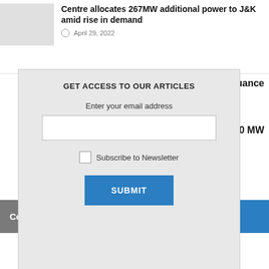Centre allocates 267MW additional power to J&K amid rise in demand
April 29, 2022
NCD issuance
540 MW
[Figure (screenshot): Modal popup with email subscription form: heading 'GET ACCESS TO OUR ARTICLES', email input field, Subscribe to Newsletter checkbox, and SUBMIT button]
Celebrating 25 Years of PowerLine